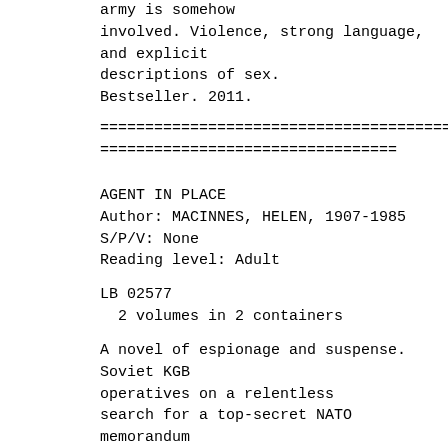army is somehow involved. Violence, strong language, and explicit descriptions of sex. Bestseller. 2011.
================================================= =================================
AGENT IN PLACE
Author:   MACINNES, HELEN, 1907-1985
S/P/V: None
Reading level: Adult
LB  02577
  2 volumes in    2 containers
A novel of espionage and suspense. Soviet KGB operatives on a relentless search for a top-secret NATO memorandum containing information on strategic forces in Europe reach a stunning conclusion as an English-